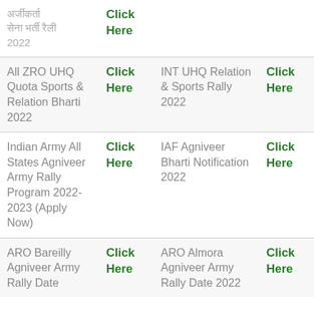| [Hindi text] 2022 | Click Here | INT UHQ Relation & Sports Rally 2022 | Click Here |
| All ZRO UHQ Quota Sports & Relation Bharti 2022 | Click Here | INT UHQ Relation & Sports Rally 2022 | Click Here |
| Indian Army All States Agniveer Army Rally Program 2022-2023 (Apply Now) | Click Here | IAF Agniveer Bharti Notification 2022 | Click Here |
| ARO Bareilly Agniveer Army Rally Date | Click Here | ARO Almora Agniveer Army Rally Date 2022 | Click Here |